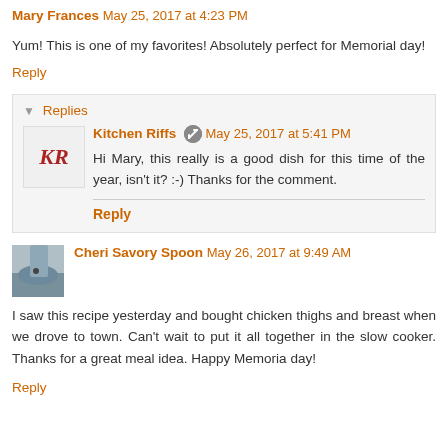Mary Frances May 25, 2017 at 4:23 PM
Yum! This is one of my favorites! Absolutely perfect for Memorial day!
Reply
Replies
Kitchen Riffs May 25, 2017 at 5:41 PM
Hi Mary, this really is a good dish for this time of the year, isn't it? :-) Thanks for the comment.
Reply
Cheri Savory Spoon May 26, 2017 at 9:49 AM
I saw this recipe yesterday and bought chicken thighs and breast when we drove to town. Can't wait to put it all together in the slow cooker. Thanks for a great meal idea. Happy Memoria day!
Reply